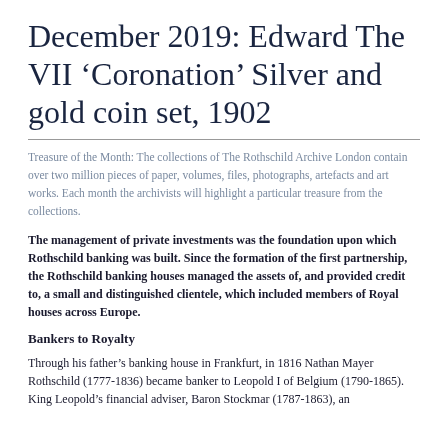December 2019: Edward The VII ‘Coronation’ Silver and gold coin set, 1902
Treasure of the Month: The collections of The Rothschild Archive London contain over two million pieces of paper, volumes, files, photographs, artefacts and art works. Each month the archivists will highlight a particular treasure from the collections.
The management of private investments was the foundation upon which Rothschild banking was built. Since the formation of the first partnership, the Rothschild banking houses managed the assets of, and provided credit to, a small and distinguished clientele, which included members of Royal houses across Europe.
Bankers to Royalty
Through his father’s banking house in Frankfurt, in 1816 Nathan Mayer Rothschild (1777-1836) became banker to Leopold I of Belgium (1790-1865). King Leopold’s financial adviser, Baron Stockmar (1787-1863), an